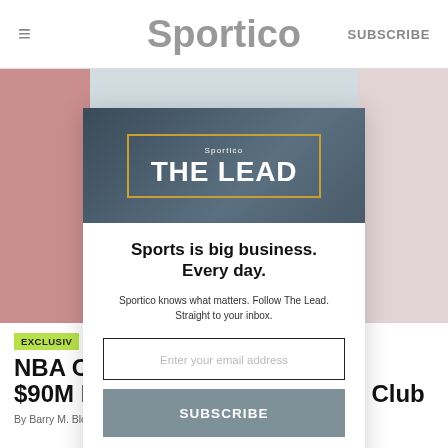Sportico | SUBSCRIBE
[Figure (screenshot): Sportico 'The Lead' newsletter modal overlay with banner image, headline 'Sports is big business. Every day.', email input field, Subscribe button, and 'No, thank you.' link]
NBA O… d $90M Buy of Sacramento MiLB Club
By Barry M. Bloom , Eben Novy-Williams / BASEBALL